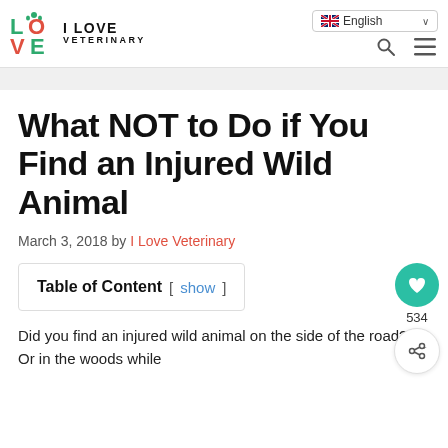I LOVE VETERINARY — English
What NOT to Do if You Find an Injured Wild Animal
March 3, 2018 by I Love Veterinary
Table of Content [ show ]
Did you find an injured wild animal on the side of the road? Or in the woods while